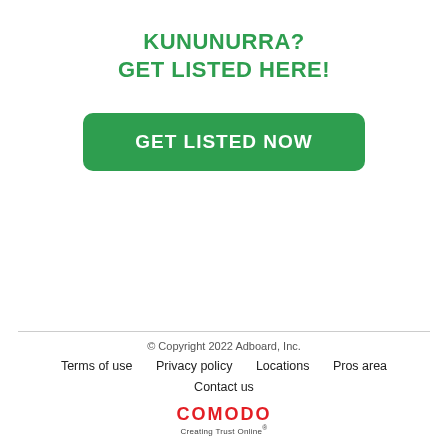KUNUNURRA?
GET LISTED HERE!
[Figure (other): Green rounded button with white bold text reading GET LISTED NOW]
© Copyright 2022 Adboard, Inc.
Terms of use   Privacy policy   Locations   Pros area   Contact us
COMODO Creating Trust Online®